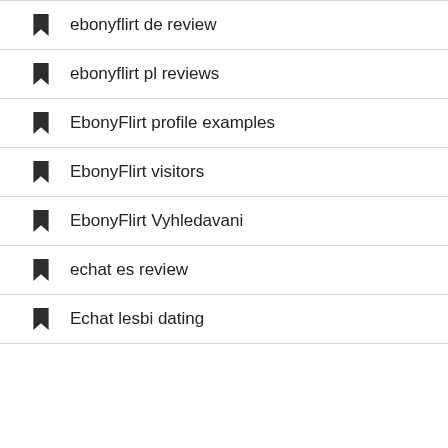ebonyflirt de review
ebonyflirt pl reviews
EbonyFlirt profile examples
EbonyFlirt visitors
EbonyFlirt Vyhledavani
echat es review
Echat lesbi dating